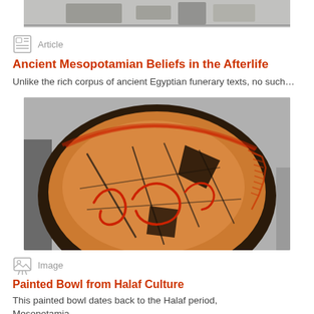[Figure (photo): Top strip of a partially visible photo showing a laboratory or office setting with boxes and equipment]
Article
Ancient Mesopotamian Beliefs in the Afterlife
Unlike the rich corpus of ancient Egyptian funerary texts, no such…
[Figure (photo): A painted ceramic bowl from the Halaf culture, terracotta colored with red curving serpentine designs painted on the interior, displayed in a museum setting. The bowl is reconstructed from fragments with visible cracks.]
Image
Painted Bowl from Halaf Culture
This painted bowl dates back to the Halaf period, Mesopotamia.